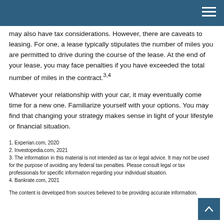may also have tax considerations. However, there are caveats to leasing. For one, a lease typically stipulates the number of miles you are permitted to drive during the course of the lease. At the end of your lease, you may face penalties if you have exceeded the total number of miles in the contract.3,4
Whatever your relationship with your car, it may eventually come time for a new one. Familiarize yourself with your options. You may find that changing your strategy makes sense in light of your lifestyle or financial situation.
1. Experian.com, 2020
2. Investopedia.com, 2021
3. The information in this material is not intended as tax or legal advice. It may not be used for the purpose of avoiding any federal tax penalties. Please consult legal or tax professionals for specific information regarding your individual situation.
4. Bankrate.com, 2021
The content is developed from sources believed to be providing accurate information.